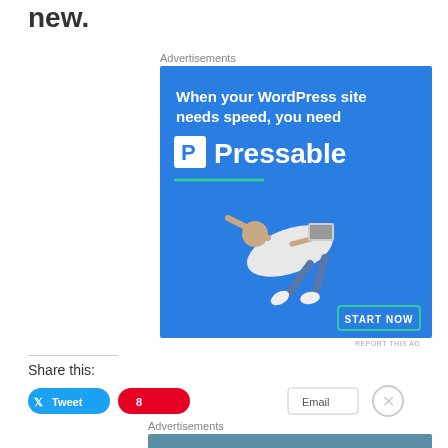new.
Advertisements
[Figure (illustration): Pressable WordPress hosting advertisement banner with blue background, showing text 'When your WordPress site needs speed, you need Pressable', a person flying horizontally holding a laptop, a green underline, and a 'START NOW' button.]
REPORT THIS AD
Share this:
[Figure (screenshot): Share buttons: Tweet (blue), Pinterest (red), Email (outlined), and a close X button]
Advertisements
[Figure (illustration): Automattic job ad with blue-grey background, 'AUTOMATTIC' in small caps and 'Love working again.' in white italic text]
REPORT THIS AD